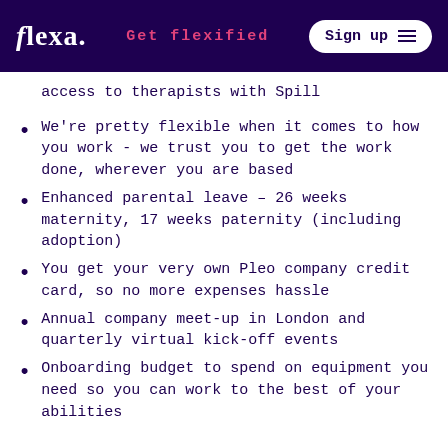flexa. | Get flexified | Sign up
access to therapists with Spill
We're pretty flexible when it comes to how you work - we trust you to get the work done, wherever you are based
Enhanced parental leave – 26 weeks maternity, 17 weeks paternity (including adoption)
You get your very own Pleo company credit card, so no more expenses hassle
Annual company meet-up in London and quarterly virtual kick-off events
Onboarding budget to spend on equipment you need so you can work to the best of your abilities